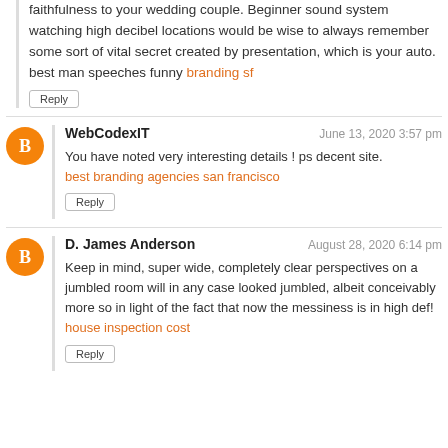faithfulness to your wedding couple. Beginner sound system watching high decibel locations would be wise to always remember some sort of vital secret created by presentation, which is your auto. best man speeches funny branding sf
Reply
WebCodexIT — June 13, 2020 3:57 pm
You have noted very interesting details ! ps decent site. best branding agencies san francisco
Reply
D. James Anderson — August 28, 2020 6:14 pm
Keep in mind, super wide, completely clear perspectives on a jumbled room will in any case looked jumbled, albeit conceivably more so in light of the fact that now the messiness is in high def! house inspection cost
Reply